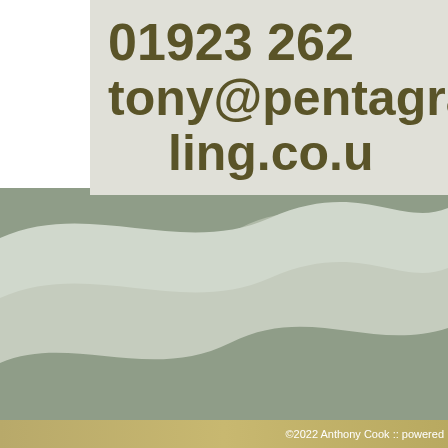01923 262
tony@pentagra
ling.co.u
[Figure (illustration): Decorative wave background in muted sage green and grey tones filling the lower portion of the page]
©2022 Anthony Cook :: powered